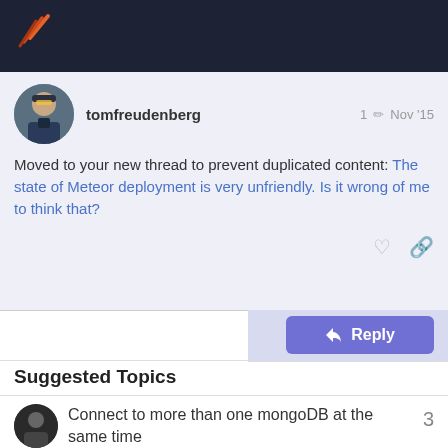Meteor forum header bar with logo
tomfreudenberg   1  Nov '15
Moved to your new thread to prevent duplicated content: The state of Meteor deployment is very unfriendly. Is it wrong of me to think that?
16 / 16
Reply
Suggested Topics
Connect to more than one mongoDB at the same time
help   Sep '21   3